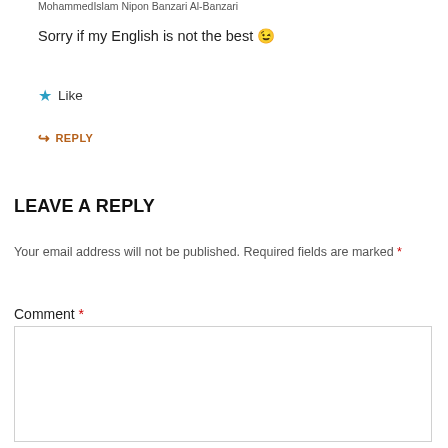MohammedIslam Nipon Banzari Al-Banzari
Sorry if my English is not the best 😉
★ Like
↪ REPLY
LEAVE A REPLY
Your email address will not be published. Required fields are marked *
Comment *